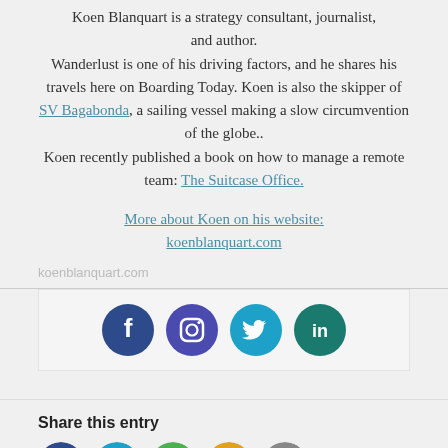Koen Blanquart is a strategy consultant, journalist, and author. Wanderlust is one of his driving factors, and he shares his travels here on Boarding Today. Koen is also the skipper of SV Bagabonda, a sailing vessel making a slow circumvention of the globe.. Koen recently published a book on how to manage a remote team: The Suitcase Office.
More about Koen on his website: koenblanquart.com
koenblanquart.com
[Figure (infographic): Social media icon buttons: Facebook (dark blue circle), Instagram (dark purple/blue circle), Twitter (cyan circle), LinkedIn (dark teal circle)]
Share this entry
[Figure (infographic): Share buttons row: partially visible colored circles (dark blue, cyan, green, orange/yellow, another) at the bottom of the page]